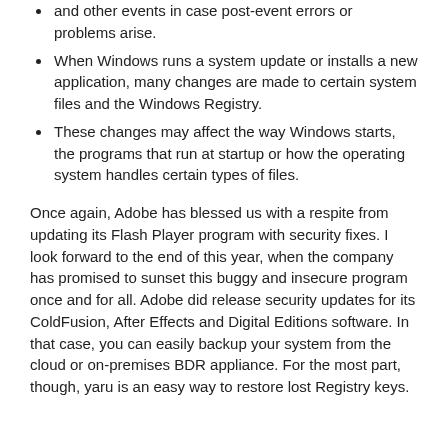and other events in case post-event errors or problems arise.
When Windows runs a system update or installs a new application, many changes are made to certain system files and the Windows Registry.
These changes may affect the way Windows starts, the programs that run at startup or how the operating system handles certain types of files.
Once again, Adobe has blessed us with a respite from updating its Flash Player program with security fixes. I look forward to the end of this year, when the company has promised to sunset this buggy and insecure program once and for all. Adobe did release security updates for its ColdFusion, After Effects and Digital Editions software. In that case, you can easily backup your system from the cloud or on-premises BDR appliance. For the most part, though, yaru is an easy way to restore lost Registry keys.